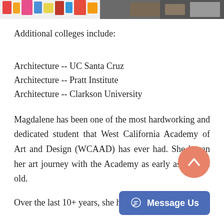[Figure (photo): Partial photo strip at top of page showing colorful art supplies and objects]
Additional colleges include:
Architecture -- UC Santa Cruz
Architecture -- Pratt Institute
Architecture -- Clarkson University
Magdalene has been one of the most hardworking and dedicated student that West California Academy of Art and Design (WCAAD) has ever had. She began her art journey with the Academy as early as 6 years old.
Over the last 10+ years, she has been part of the